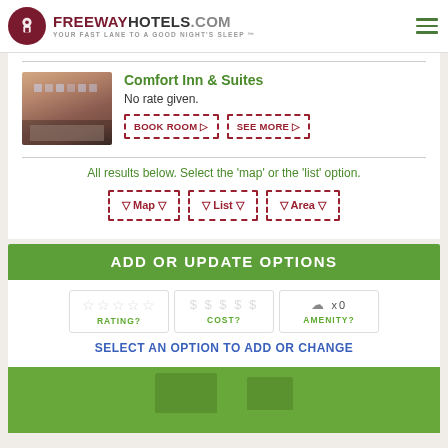FREEWAYHOTELS.COM — YOUR FAST LANE TO A GOOD NIGHT'S SLEEP™
[Figure (photo): Photo of Comfort Inn & Suites hotel exterior building]
Comfort Inn & Suites
No rate given.
BOOK ROOM ▷
SEE MORE ▷
All results below. Select the 'map' or the 'list' option.
▽ Map ▽
▽ List ▽
▽ Area ▽
ADD OR UPDATE OPTIONS
RATING?
COST?
AMENITY?
SELECT AN OPTION TO ADD OR CHANGE